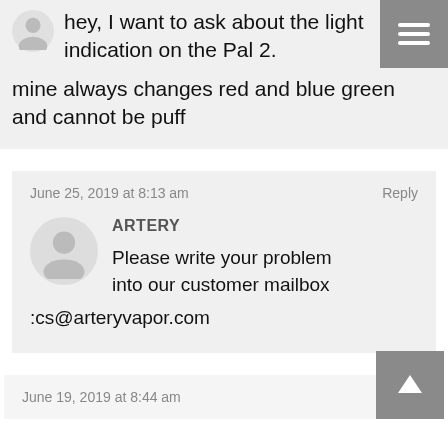hey, I want to ask about the light indication on the Pal 2. mine always changes red and blue green and cannot be puff
June 25, 2019 at 8:13 am
Reply
ARTERY
Please write your problem into our customer mailbox :cs@arteryvapor.com
June 19, 2019 at 8:44 am
Reply